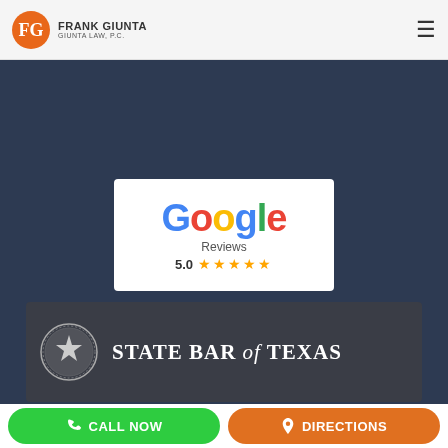[Figure (logo): Frank Giunta / Giunta Law P.C. logo with orange FG monogram circle and text]
[Figure (screenshot): Google Reviews badge showing 5.0 rating with five gold stars on white background]
[Figure (logo): State Bar of Texas logo with circular seal and white text on dark background]
CALL NOW
DIRECTIONS